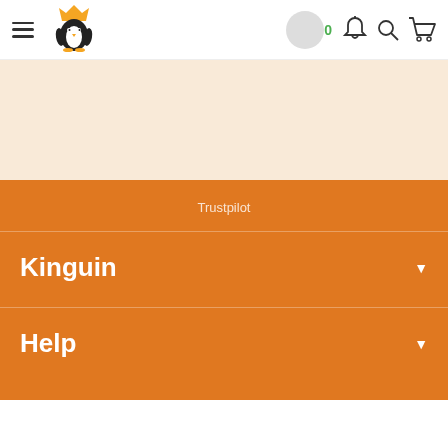Kinguin — header navigation with hamburger menu, logo, coin badge (0), bell, search, and cart icons
[Figure (screenshot): Beige/cream colored banner section below the header]
Trustpilot
Kinguin
Help